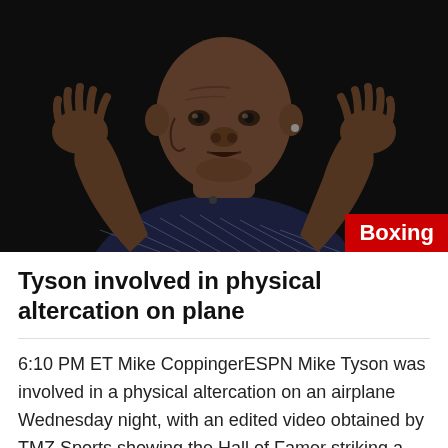[Figure (photo): Photo of Mike Tyson on a dark background, wearing a dark patterned shirt, with both hands raised open-palmed. A red 'Boxing' badge appears in the bottom-right corner.]
Tyson involved in physical altercation on plane
6:10 PM ET Mike CoppingerESPN Mike Tyson was involved in a physical altercation on an airplane Wednesday night, with an edited video obtained by TMZ Sports showing the Hall of Famer striking a passenger seated behind him. A spokesperson for